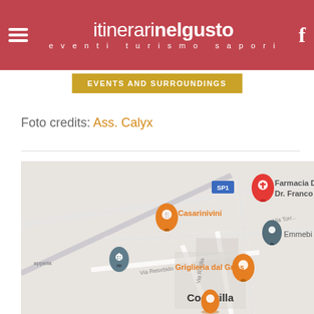itinerarinelgusto — eventi turismo sapori
EVENTS AND SURROUNDINGS
Foto credits: Ass. Calyx
[Figure (map): Google Maps screenshot showing area around Codevilla, Italy, with location markers for Casarinivini, Farmacia Deluca Dr. Franco, Emmebi, Griglieria dal Griss, and a chapel (appella). Roads include Via Retorbido, Via R.Villa, Via Torre. Road label SP1 visible.]